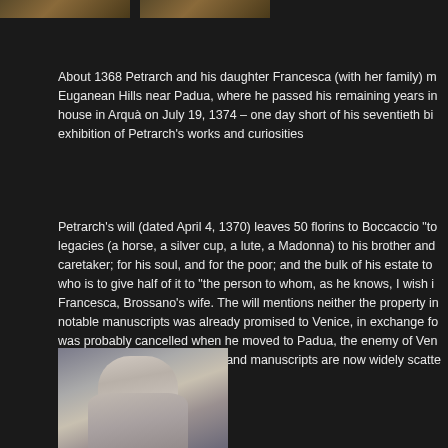[Figure (photo): Two small historical images at top of page, appearing to show portraits or scenes related to Petrarch]
About 1368 Petrarch and his daughter Francesca (with her family) m... Euganean Hills near Padua, where he passed his remaining years in... house in Arquà on July 19, 1374 – one day short of his seventieth bi... exhibition of Petrarch's works and curiosities
Petrarch's will (dated April 4, 1370) leaves 50 florins to Boccaccio "to... legacies (a horse, a silver cup, a lute, a Madonna) to his brother and... caretaker; for his soul, and for the poor; and the bulk of his estate to... who is to give half of it to "the person to whom, as he knows, I wish i... Francesca, Brossano's wife. The will mentions neither the property in... notable manuscripts was already promised to Venice, in exchange fo... was probably cancelled when he moved to Padua, the enemy of Ven... lords of Padua, and his books and manuscripts are now widely scatte...
[Figure (photo): Statue or sculpture of Petrarch, showing a robed figure looking upward with hand raised to chin, carved in light stone]